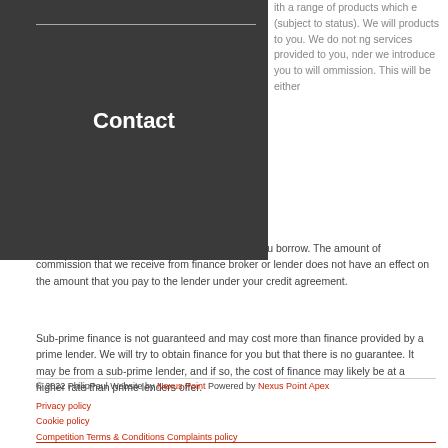Contact
ith a range of products which e (subject to status). We will products to you. We do not ng services provided to you, nder we introduce you to will ommission. This will be either a fixed fee or a fixed percentage of the amount you borrow. The amount of commission that we receive from finance broker or lender does not have an effect on the amount that you pay to the lender under your credit agreement.
Sub-prime finance is not guaranteed and may cost more than finance provided by a prime lender. We will try to obtain finance for you but that there is no guarantee. It may be from a sub-prime lender, and if so, the cost of finance may likely be at a higher rate than prime lenders offer.
© 2022 PhilipPaul Website by Nexus Point Powered by Nexus Point Apex
Privacy policy
Cookie policy
Competition Terms & Conditions Complaints policy